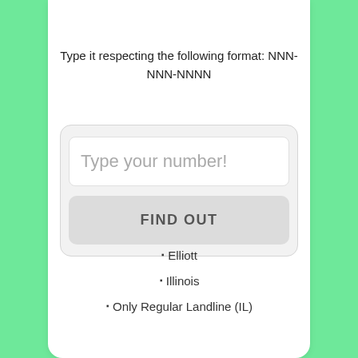Type it respecting the following format: NNN-NNN-NNNN
[Figure (screenshot): A UI input form with a text field showing placeholder 'Type your number!' and a button labeled 'FIND OUT', inside a rounded rectangle card with light gray background]
* Elliott
* Illinois
* Only Regular Landline (IL)